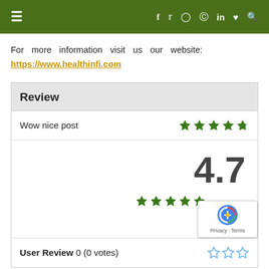≡  f  twitter  instagram  pinterest  in  heart  search
For more information visit us our website: https://www.healthinfi.com
| Review |  |
| --- | --- |
| Wow nice post | ★★★★★½ |
|  | 4.7
★★★★★ |
| User Review 0 (0 votes) | ☆☆☆☆☆ |